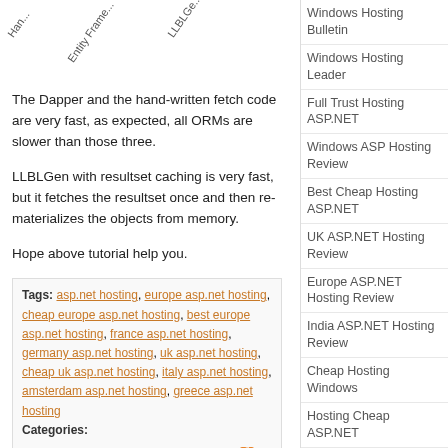[Figure (other): Rotated text labels showing 'Han...', 'Entity Frame...', 'LLBLGe...' at top of main content area]
The Dapper and the hand-written fetch code are very fast, as expected, all ORMs are slower than those three.
LLBLGen with resultset caching is very fast, but it fetches the resultset once and then re-materializes the objects from memory.
Hope above tutorial help you.
Tags: asp.net hosting, europe asp.net hosting, cheap europe asp.net hosting, best europe asp.net hosting, france asp.net hosting, germany asp.net hosting, uk asp.net hosting, cheap uk asp.net hosting, italy asp.net hosting, amsterdam asp.net hosting, greece asp.net hosting
Categories:
Actions: E-mail | Kick it! | Permalink | Comments (0) | Comment RSS
European ASP.NET Signal R Hosting - Paris :: How to Integrate ASP.NET with SignalR Hubs
February 23, 2015 07:40 by Scott
In modern applications the end users want to get their data. They want it now, they want it
Windows Hosting Bulletin
Windows Hosting Leader
Full Trust Hosting ASP.NET
Windows ASP Hosting Review
Best Cheap Hosting ASP.NET
UK ASP.NET Hosting Review
Europe ASP.NET Hosting Review
India ASP.NET Hosting Review
Cheap Hosting Windows
Hosting Cheap ASP.NET
Cloud Hosting ASP.NET